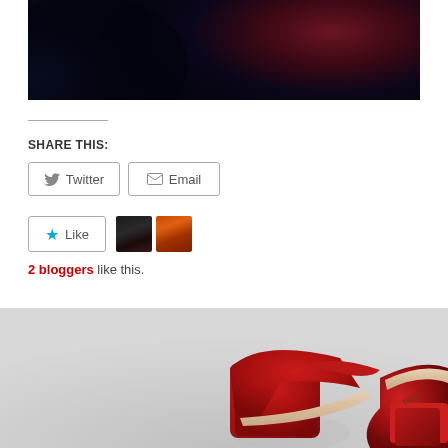[Figure (photo): Dark moody photo with deep red and navy/dark blue tones, partially visible]
SHARE THIS:
[Figure (other): Twitter share button with bird icon]
[Figure (other): Email share button with envelope icon]
[Figure (other): Like button with star icon and two blogger avatars]
2 bloggers like this.
[Figure (photo): Red high-heel shoes on a light grey background, close-up shot]